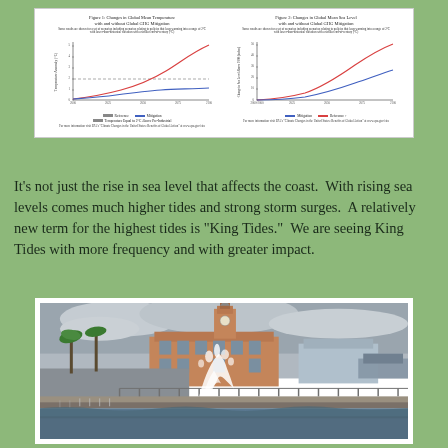[Figure (continuous-plot): Two line charts side by side on white background. Left chart titled 'Figure 1: Changes in Global Mean Temperature with and without Global GHG Mitigation' showing red (Reference) and blue (Mitigation) curves rising from 2000 to 2100, with a horizontal line for 'Temperature Equal to 2°C Above Pre-Industrial'. Right chart titled 'Figure 2: Changes in Global Mean Sea Level with and without Global GHG Mitigation' showing red (Reference) and blue (Mitigation) curves rising steeply from 2000 to 2100. Both charts show much higher outcomes without mitigation.]
It's not just the rise in sea level that affects the coast.  With rising sea levels comes much higher tides and strong storm surges.  A relatively new term for the highest tides is "King Tides."  We are seeing King Tides with more frequency and with greater impact.
[Figure (photo): Photograph of a coastal waterfront scene showing waves crashing over a seawall or pier, with a historic brick building with a clock tower in the background, palm trees on the left, and overcast stormy sky. Water is splashing dramatically over the barrier.]